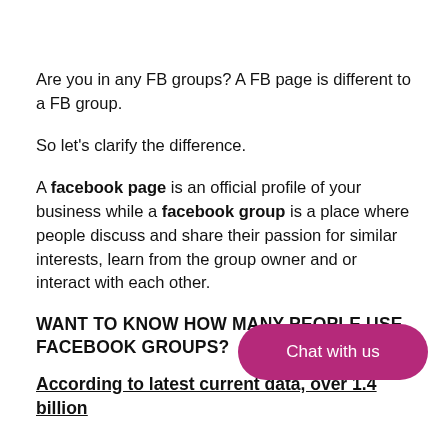Are you in any FB groups? A FB page is different to a FB group.
So let's clarify the difference.
A facebook page is an official profile of your business while a facebook group is a place where people discuss and share their passion for similar interests, learn from the group owner and or interact with each other.
WANT TO KNOW HOW MANY PEOPLE USE FACEBOOK GROUPS?
According to latest current data, over 1.4 billion